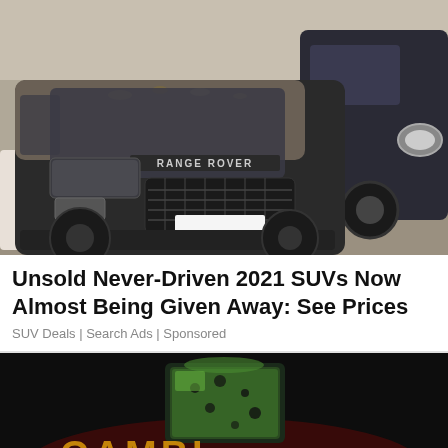[Figure (photo): A muddy/dusty dark Range Rover SUV parked next to another dark vehicle, viewed from the front at a slight angle.]
Unsold Never-Driven 2021 SUVs Now Almost Being Given Away: See Prices
SUV Deals | Search Ads | Sponsored
[Figure (photo): Dark background advertisement image with a green glowing object, partial text visible at bottom reading something with large orange/gold letters.]